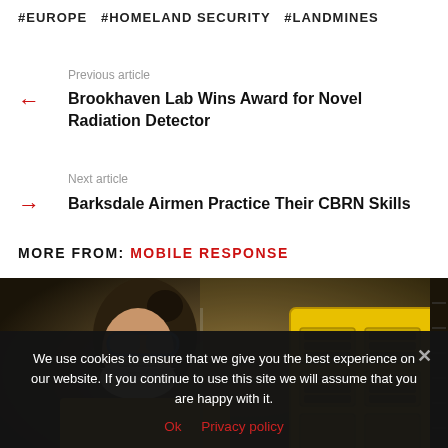#EUROPE  #HOMELAND SECURITY  #LANDMINES
Previous article
← Brookhaven Lab Wins Award for Novel Radiation Detector
Next article
→ Barksdale Airmen Practice Their CBRN Skills
MORE FROM: MOBILE RESPONSE
[Figure (photo): A person wearing a white face mask and blue safety glasses in a yellow hazmat suit, examining a yellow equipment case with compartments.]
We use cookies to ensure that we give you the best experience on our website. If you continue to use this site we will assume that you are happy with it.
Ok  Privacy policy